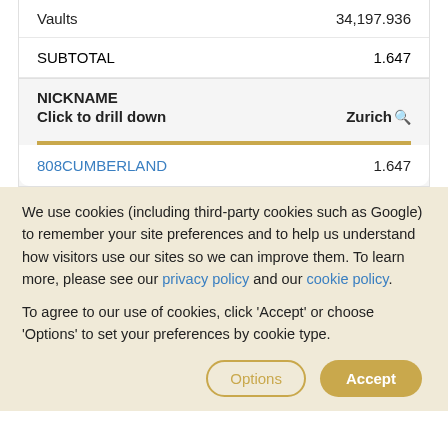|  |  |
| --- | --- |
| Vaults | 34,197.936 |
| SUBTOTAL | 1.647 |
| NICKNAME |  |
| --- | --- |
| Click to drill down | Zurich |
| 808CUMBERLAND | 1.647 |
We use cookies (including third-party cookies such as Google) to remember your site preferences and to help us understand how visitors use our sites so we can improve them. To learn more, please see our privacy policy and our cookie policy.
To agree to our use of cookies, click 'Accept' or choose 'Options' to set your preferences by cookie type.